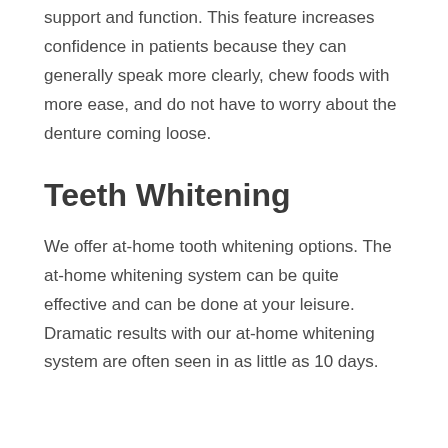support and function. This feature increases confidence in patients because they can generally speak more clearly, chew foods with more ease, and do not have to worry about the denture coming loose.
Teeth Whitening
We offer at-home tooth whitening options. The at-home whitening system can be quite effective and can be done at your leisure. Dramatic results with our at-home whitening system are often seen in as little as 10 days.